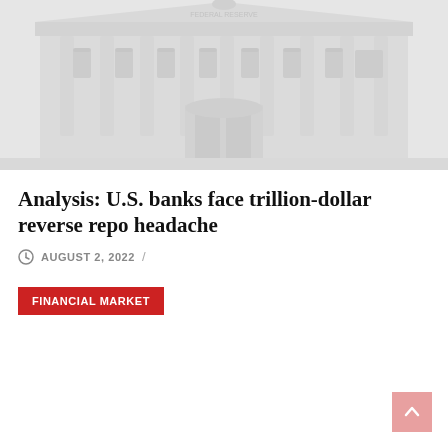[Figure (photo): Grayscale/faded photo of a large classical bank or government building facade with columns and arched windows]
Analysis: U.S. banks face trillion-dollar reverse repo headache
AUGUST 2, 2022 /
FINANCIAL MARKET